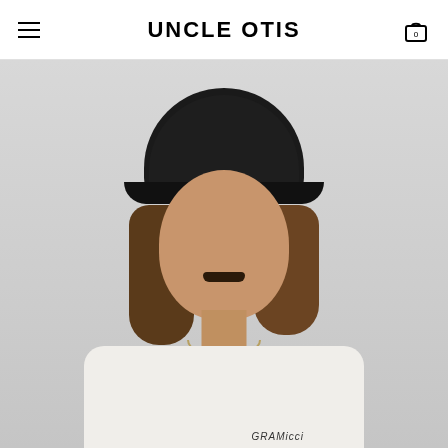UNCLE OTIS
[Figure (photo): A person wearing a dark olive/black nylon 6-panel cap with a structured brim, medium-length brown hair, a mustache, and a chain necklace, wearing a white Gramicci t-shirt. Photographed against a light grey background.]